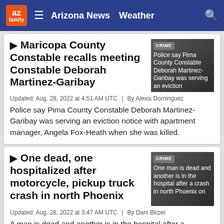az family — Arizona News  Weather
Maricopa County Constable recalls meeting Constable Deborah Martinez-Garibay
Updated: Aug. 28, 2022 at 4:51 AM UTC  |  By Alexis Dominguez
Police say Pima County Constable Deborah Martinez-Garibay was serving an eviction notice with apartment manager, Angela Fox-Heath when she was killed.
One dead, one hospitalized after motorcycle, pickup truck crash in north Phoenix
Updated: Aug. 28, 2022 at 3:47 AM UTC  |  By Dani Birzer
A man is dead and another is in the hospital after a